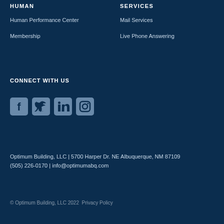HUMAN
Human Performance Center
Membership
SERVICES
Mail Services
Live Phone Answering
CONNECT WITH US
[Figure (illustration): Social media icons: Facebook, Twitter, LinkedIn, Instagram]
Optimum Building, LLC | 5700 Harper Dr. NE Albuquerque, NM 87109
(505) 226-0170 | info@optimumabq.com
© Optimum Building, LLC 2022  Privacy Policy